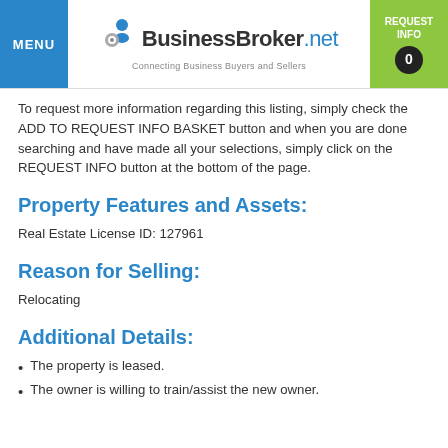MENU | BusinessBroker.net Connecting Business Buyers and Sellers | REQUEST INFO 0
To request more information regarding this listing, simply check the ADD TO REQUEST INFO BASKET button and when you are done searching and have made all your selections, simply click on the REQUEST INFO button at the bottom of the page.
Property Features and Assets:
Real Estate License ID: 127961
Reason for Selling:
Relocating
Additional Details:
The property is leased.
The owner is willing to train/assist the new owner.